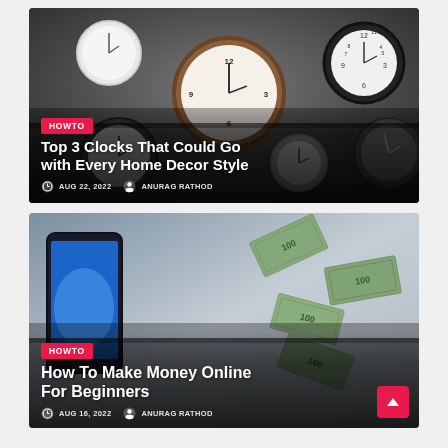[Figure (photo): Blog post card with photo of multiple clocks on a wall, overlaid with HOWTO badge, title 'Top 3 Clocks That Could Go with Every Home Decor Style', date AUG 22, 2022 and author ANURAG RATHOD]
[Figure (photo): Blog post card with photo of a smartphone and money bills flying, overlaid with HOWTO badge, title 'How To Make Money Online For Beginners', date AUG 16, 2022 and author ANURAG RATHOD]